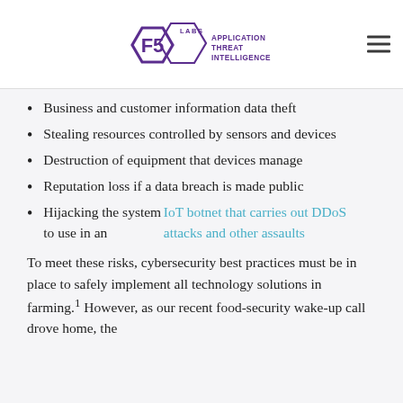[Figure (logo): F5 Labs Application Threat Intelligence logo — hexagonal shape with F5 text and LABS above, APPLICATION THREAT INTELLIGENCE to the right]
Business and customer information data theft
Stealing resources controlled by sensors and devices
Destruction of equipment that devices manage
Reputation loss if a data breach is made public
Hijacking the system to use in an IoT botnet that carries out DDoS attacks and other assaults
To meet these risks, cybersecurity best practices must be in place to safely implement all technology solutions in farming.1 However, as our recent food-security wake-up call drove home, the